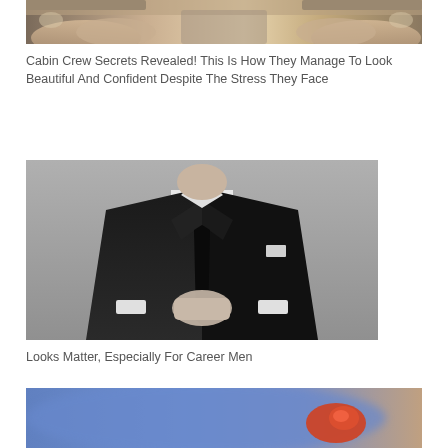[Figure (photo): Interior of an airplane cabin with leather seats, fisheye or wide-angle view]
Cabin Crew Secrets Revealed! This Is How They Manage To Look Beautiful And Confident Despite The Stress They Face
[Figure (photo): Black and white photo of a man in a dark suit and tie buttoning his jacket]
Looks Matter, Especially For Career Men
[Figure (photo): Blurred background with an orange/red object in focus, partial bottom image]